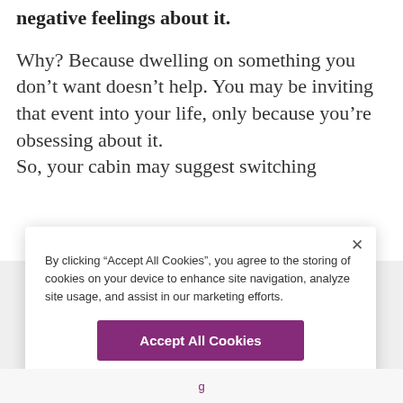negative feelings about it.
Why? Because dwelling on something you don’t want doesn’t help. You may be inviting that event into your life, only because you’re obsessing about it.
So, your cabin may suggest switching...
By clicking “Accept All Cookies”, you agree to the storing of cookies on your device to enhance site navigation, analyze site usage, and assist in our marketing efforts.
Accept All Cookies